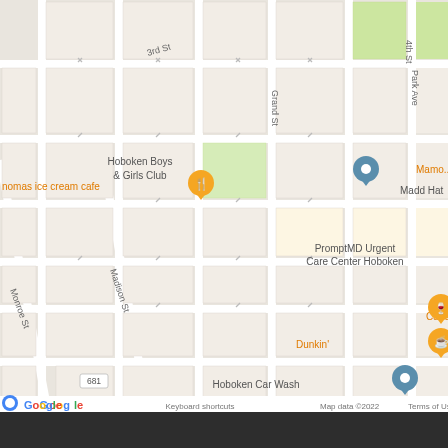[Figure (map): Google Maps screenshot showing a street grid of Hoboken, NJ centered on Antique Bar & Bakery. Visible landmarks include Hoboken University Medical Center, Hoboken Boys & Girls Club, PromptMD Urgent Care Center Hoboken, Tony Boloney's Hoboken, Dunkin', Hoboken Car Wash, 77 Park Avenue Apartments, Zack's, Carlo's, Madd Hat, and Thomas ice cream cafe. Streets visible include 3rd St, 2nd St, 1st St, Newark St, Monroe St, Madison St, Grand St, Park Ave. Route badges 681 and 673 visible. Google logo and map attribution at bottom.]